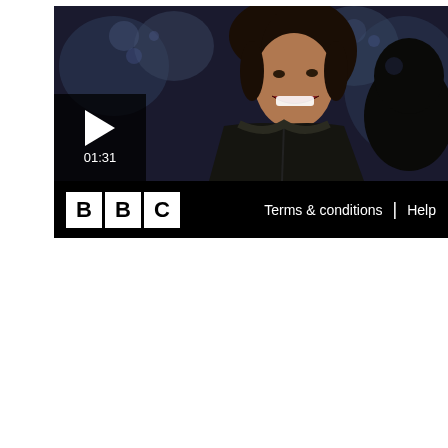[Figure (screenshot): BBC video player showing a smiling woman in a black leather jacket in a dark venue setting. A play button overlay with timestamp 01:31 is visible in the lower-left of the video. Below the video is a black footer bar with the BBC logo on the left and 'Terms & conditions | Help' links on the right.]